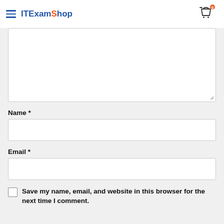ITExamShop
[Figure (screenshot): Textarea input field (comment box), partially visible, with resize handle at bottom right]
Name *
[Figure (screenshot): Name input field, empty text box]
Email *
[Figure (screenshot): Email input field, empty text box]
Save my name, email, and website in this browser for the next time I comment.